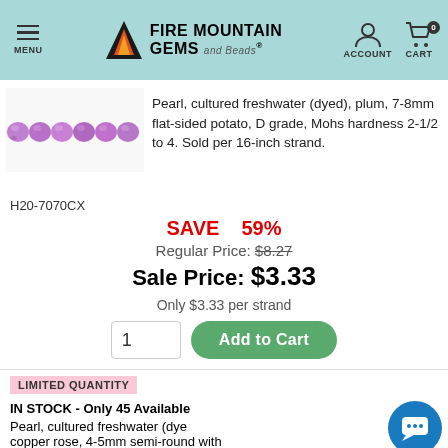Fire Mountain Gems and Beads - MENU | ACCOUNT | CART 0
[Figure (photo): Purple/plum cultured freshwater pearl beads on a strand, shown close-up]
Pearl, cultured freshwater (dyed), plum, 7-8mm flat-sided potato, D grade, Mohs hardness 2-1/2 to 4. Sold per 16-inch strand.
H20-7070CX
SAVE 59%
Regular Price: $8.27
Sale Price: $3.33
Only $3.33 per strand
LIMITED QUANTITY
IN STOCK - Only 45 Available
Pearl, cultured freshwater (dyed), copper rose, 4-5mm semi-round with 0.4-0.6mm hole, D grade, Mohs